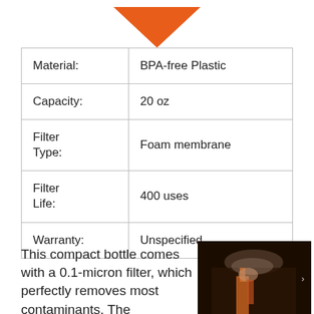[Figure (logo): Orange downward-pointing triangle logo/icon at the top center of the page]
| Material: | BPA-free Plastic |
| Capacity: | 20 oz |
| Filter Type: | Foam membrane |
| Filter Life: | 400 uses |
| Warranty: | Unspecified |
This compact bottle comes with a 0.1-micron filter, which perfectly removes most contaminants. The
[Figure (photo): Person using a water filter bottle outdoors, wearing a grey hat]